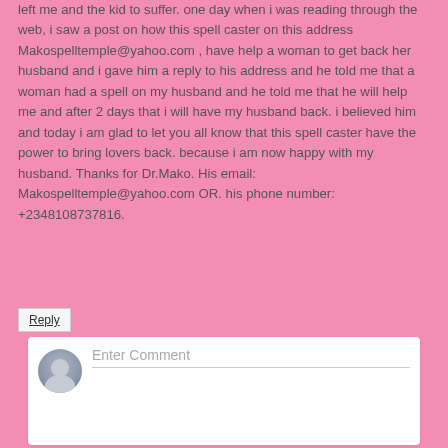left me and the kid to suffer. one day when i was reading through the web, i saw a post on how this spell caster on this address Makospelltemple@yahoo.com , have help a woman to get back her husband and i gave him a reply to his address and he told me that a woman had a spell on my husband and he told me that he will help me and after 2 days that i will have my husband back. i believed him and today i am glad to let you all know that this spell caster have the power to bring lovers back. because i am now happy with my husband. Thanks for Dr.Mako. His email: Makospelltemple@yahoo.com OR. his phone number: +2348108737816.
Reply
Enter Comment